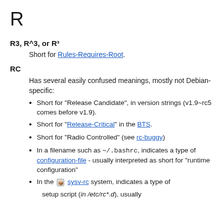R
R3, R^3, or R³
Short for Rules-Requires-Root.
RC
Has several easily confused meanings, mostly not Debian-specific:
Short for "Release Candidate", in version strings (v1.9~rc5 comes before v1.9).
Short for "Release-Critical" in the BTS.
Short for "Radio Controlled" (see rc-buggy)
In a filename such as ~/.bashrc, indicates a type of configuration-file - usually interpreted as short for "runtime configuration"
In the sysv-rc system, indicates a type of setup script (in /etc/rc*.d), usually...